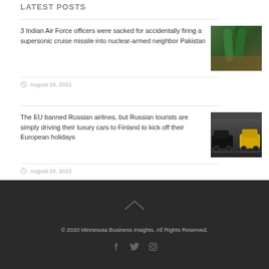LATEST POSTS
3 Indian Air Force officers were sacked for accidentally firing a supersonic cruise missile into nuclear-armed neighbor Pakistan
August 24, 2022
[Figure (photo): Photo of green missiles/rockets stacked in a military setting]
The EU banned Russian airlines, but Russian tourists are simply driving their luxury cars to Finland to kick off their European holidays
August 24, 2022
[Figure (photo): Photo of luxury cars in a parking garage, including a yellow sports car]
© 2020 Minnesota Business Insights. All Rights Reserved.